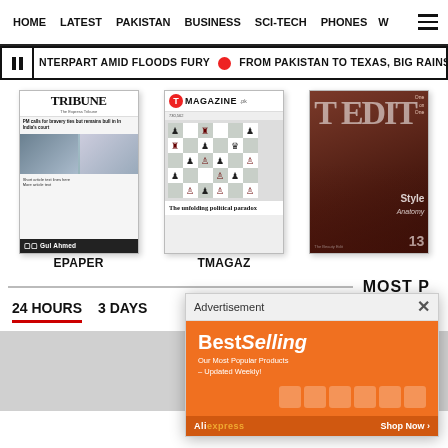HOME  LATEST  PAKISTAN  BUSINESS  SCI-TECH  PHONES  W
NTERPART AMID FLOODS FURY  •  FROM PAKISTAN TO TEXAS, BIG RAINS AFTER EX
[Figure (screenshot): Tribune newspaper front page cover]
[Figure (screenshot): T Magazine cover with chess board and headline 'The unfolding political paradox']
[Figure (screenshot): T Edit magazine cover with fashion model, issue 13]
EPAPER
TMAGAZ
MOST P
24 HOURS
3 DAYS
[Figure (screenshot): Advertisement overlay: BestSelling - Our Most Popular Products Updated Weekly - AliExpress Shop Now]
[Figure (photo): Gray placeholder image area at bottom of page]